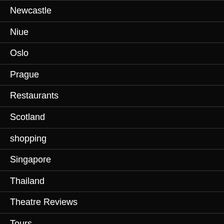Newcastle
Niue
Oslo
Prague
Restaurants
Scotland
shopping
Singapore
Thailand
Theatre Reviews
Tours
Travel